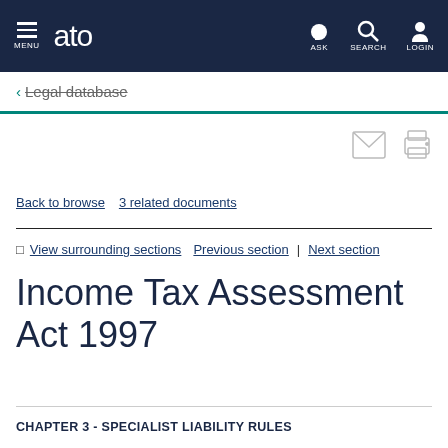MENU | ato | ASK | SEARCH | LOGIN
← Legal database
[Figure (other): Email and print action icons]
Back to browse   3 related documents
View surrounding sections   Previous section   |   Next section
Income Tax Assessment Act 1997
CHAPTER 3 - SPECIALIST LIABILITY RULES